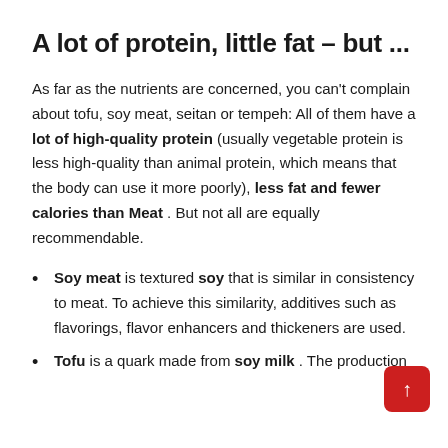A lot of protein, little fat – but ...
As far as the nutrients are concerned, you can't complain about tofu, soy meat, seitan or tempeh: All of them have a lot of high-quality protein (usually vegetable protein is less high-quality than animal protein, which means that the body can use it more poorly), less fat and fewer calories than Meat . But not all are equally recommendable.
Soy meat is textured soy that is similar in consistency to meat. To achieve this similarity, additives such as flavorings, flavor enhancers and thickeners are used.
Tofu is a quark made from soy milk . The production